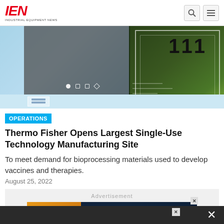IEN - INDUSTRIAL EQUIPMENT NEWS
[Figure (photo): Hero image showing a microchip/semiconductor with number 111 visible, on a blue-tinted background with slider navigation dots]
OPERATIONS
Thermo Fisher Opens Largest Single-Use Technology Manufacturing Site
To meet demand for bioprocessing materials used to develop vaccines and therapies.
August 25, 2022
[Figure (other): Advertisement area with Oracle NetSuite banner: CFO Guide: 4 Inflation Metrics to Watch Now]